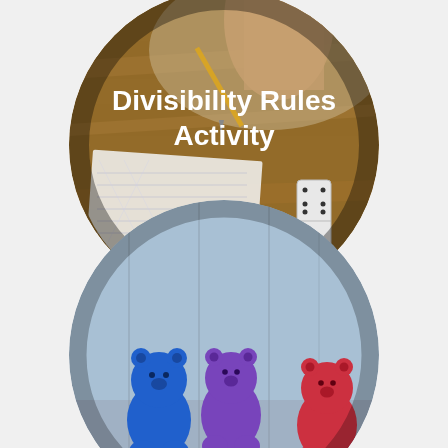[Figure (photo): Circular photo of a child's hand writing on a worksheet with a pencil, a domino piece visible on a wooden table background. White text overlay reads 'Divisibility Rules Activity'.]
Divisibility Rules Activity
[Figure (photo): Circular photo of colorful counting bear manipulatives (blue, purple, red) on a light blue wooden background. White text overlay reads 'Teaching Odd and'.]
Teaching Odd and